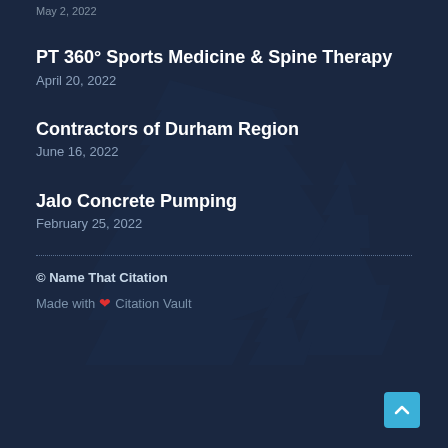May 2, 2022
PT 360° Sports Medicine & Spine Therapy
April 20, 2022
Contractors of Durham Region
June 16, 2022
Jalo Concrete Pumping
February 25, 2022
© Name That Citation
Made with ❤ Citation Vault